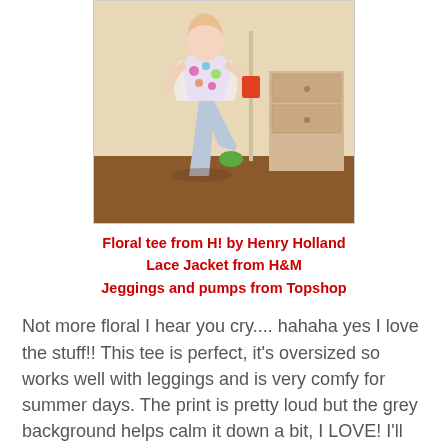[Figure (photo): A person posing with one knee raised, wearing a floral tee, light grey jeggings, and green pumps, standing indoors near a dresser.]
Floral tee from H! by Henry Holland
Lace Jacket from H&M
Jeggings and pumps from Topshop
Not more floral I hear you cry.... hahaha yes I love the stuff!! This tee is perfect, it's oversized so works well with leggings and is very comfy for summer days. The print is pretty loud but the grey background helps calm it down a bit, I LOVE! I'll show you the H! giraffe print leggings another day.
My shoes are really old, I haven't worn them in years but today I decided to give them a new lease of live. They have